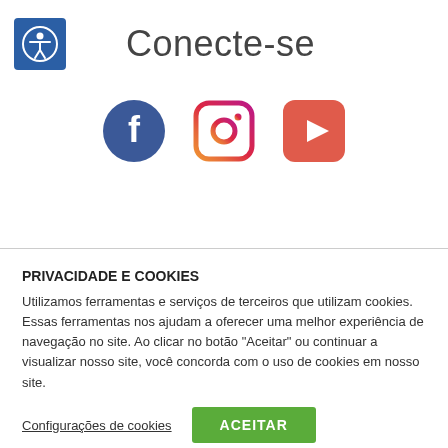Conecte-se
[Figure (logo): Social media icons: Facebook (blue circle with F), Instagram (purple square with camera), YouTube (red rounded square with play button)]
PRIVACIDADE E COOKIES
Utilizamos ferramentas e serviços de terceiros que utilizam cookies. Essas ferramentas nos ajudam a oferecer uma melhor experiência de navegação no site. Ao clicar no botão "Aceitar" ou continuar a visualizar nosso site, você concorda com o uso de cookies em nosso site.
Configurações de cookies
ACEITAR